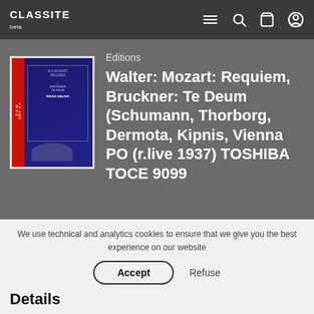CLASSITE beta
[Figure (photo): Album cover of Walter: Mozart Requiem, Bruckner Te Deum. Dark blue cover with red spine and white border.]
Editions
Walter: Mozart: Requiem, Bruckner: Te Deum (Schumann, Thorborg, Dermota, Kipnis, Vienna PO (r.live 1937) TOSHIBA TOCE 9099
We use technical and analytics cookies to ensure that we give you the best experience on our website
Accept
Refuse
Details